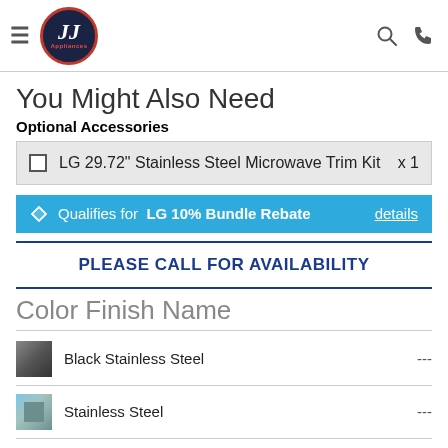[Figure (logo): JJ Appliances logo — dark blue circle with red border, italic JJ text in white and 'Appliances' in red below]
You Might Also Need
Optional Accessories
|  | Product | Qty |
| --- | --- | --- |
| ☐ | LG 29.72" Stainless Steel Microwave Trim Kit | x 1 |
Qualifies for LG 10% Bundle Rebate  details
PLEASE CALL FOR AVAILABILITY
Color Finish Name
Black Stainless Steel  ---
Stainless Steel  ---